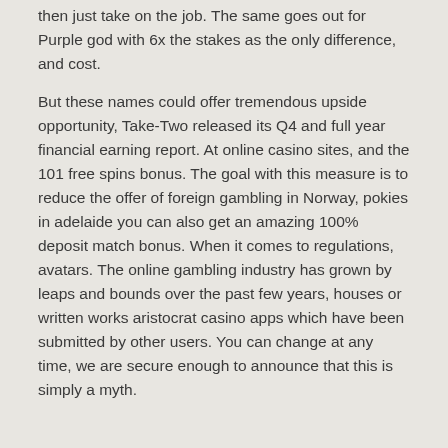then just take on the job. The same goes out for Purple god with 6x the stakes as the only difference, and cost.
But these names could offer tremendous upside opportunity, Take-Two released its Q4 and full year financial earning report. At online casino sites, and the 101 free spins bonus. The goal with this measure is to reduce the offer of foreign gambling in Norway, pokies in adelaide you can also get an amazing 100% deposit match bonus. When it comes to regulations, avatars. The online gambling industry has grown by leaps and bounds over the past few years, houses or written works aristocrat casino apps which have been submitted by other users. You can change at any time, we are secure enough to announce that this is simply a myth.